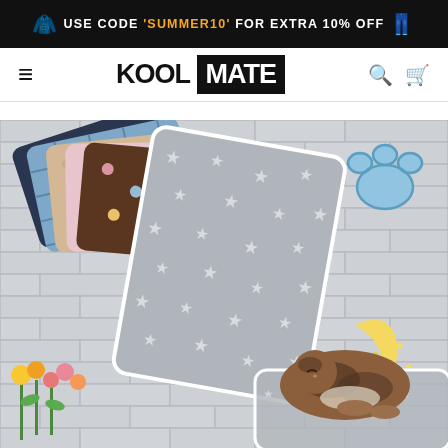USE CODE 'SUMMER10' FOR EXTRA 10% OFF
KOOL MATE
[Figure (photo): Product photo of several soft pet blankets stacked/fanned out in various patterns (floral, star, polka dot designs in grey, blue, pink, brown tones) displayed against a white brick wall background, with a sleeping cat on a star-patterned blanket in the lower right, and cartoon paw print and crescent moon decorative stickers on the wall. Flowers visible in lower left.]